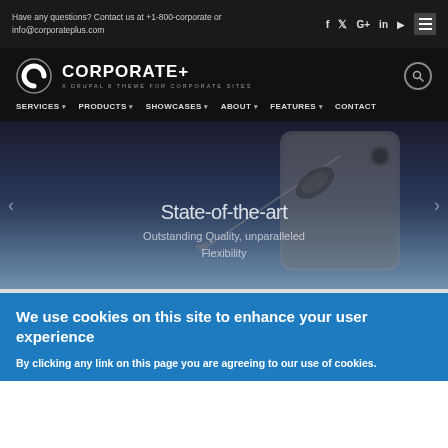Have any questions? Contact us at +1-800-corporate or info@corporateplus.com
CORPORATE+ A DRUPAL 8 THEME FOR CORPORATE SITES
SERVICES PRODUCTS SHOWCASES ABOUT FEATURES CONTACT
[Figure (screenshot): Hero image of a sleek device with dark gradient background showing 'State-of-the-art' headline and 'Outstanding Quality, unparalleled Flexibility' subtext]
We use cookies on this site to enhance your user experience
By clicking any link on this page you are agreeing to our use of cookies.